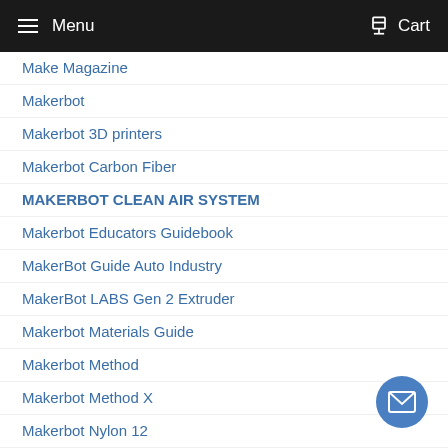Menu  Cart
Make Magazine
Makerbot
Makerbot 3D printers
Makerbot Carbon Fiber
MAKERBOT CLEAN AIR SYSTEM
Makerbot Educators Guidebook
MakerBot Guide Auto Industry
MakerBot LABS Gen 2 Extruder
Makerbot Materials Guide
Makerbot Method
Makerbot Method X
Makerbot Nylon 12
makerbot promotion
MakerBot RapidRinse
Makerbot Sketch